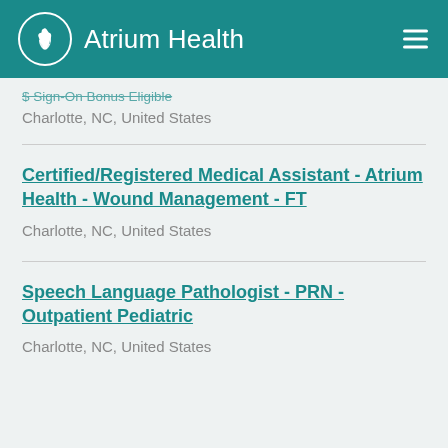Atrium Health
$ Sign-On Bonus Eligible
Charlotte, NC, United States
Certified/Registered Medical Assistant - Atrium Health - Wound Management - FT
Charlotte, NC, United States
Speech Language Pathologist - PRN - Outpatient Pediatric
Charlotte, NC, United States